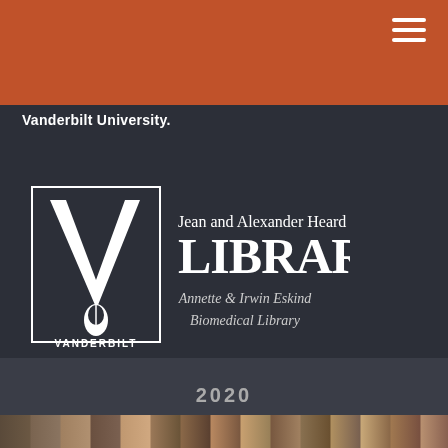Vanderbilt University.
[Figure (logo): Jean and Alexander Heard Library, Annette & Irwin Eskind Biomedical Library logo with Vanderbilt V emblem]
2020
[Figure (photo): Wood texture photo strip at the bottom of the page]